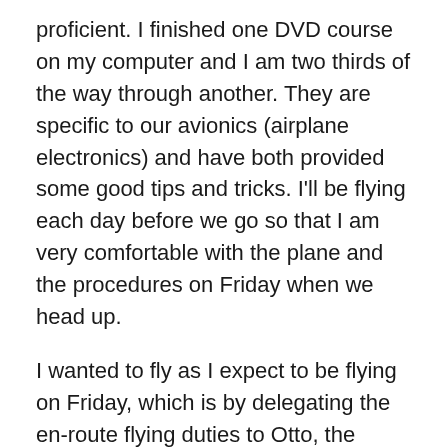proficient. I finished one DVD course on my computer and I am two thirds of the way through another. They are specific to our avionics (airplane electronics) and have both provided some good tips and tricks. I'll be flying each day before we go so that I am very comfortable with the plane and the procedures on Friday when we head up.
I wanted to fly as I expect to be flying on Friday, which is by delegating the en-route flying duties to Otto, the autopilot. The trip becomes more of a management of systems and less of a flying task involving the stick and rudder. It is less visceral (I can't feel a change in wind affect the plane), but it is steadier and more predictable.
On Monday I flew with my friend Art. I forgot to put in the LAX VOR before taking off (I know on the map where the 315 radial is, so I was surprised it wasn't sweeping in; I